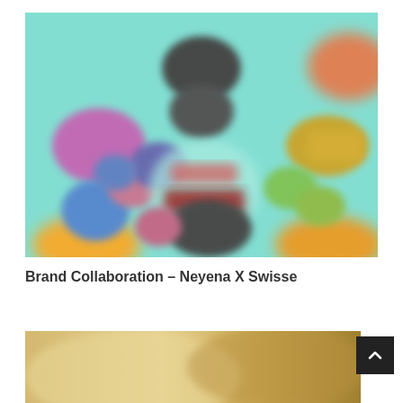[Figure (photo): Blurred overhead photo of colorful cosmetic or supplement products arranged on a mint/turquoise background with orange, pink, blue, yellow and green items. A central red rectangular product is visible.]
Brand Collaboration – Neyena X Swisse
[Figure (photo): Partially visible blurred photo with warm gold/beige tones, likely a product or lifestyle shot, cropped at the bottom of the page.]